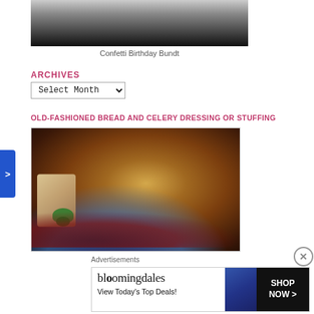[Figure (photo): Top portion of a dark dessert plate with a fork, partially cropped]
Confetti Birthday Bundt
ARCHIVES
Select Month (dropdown)
OLD-FASHIONED BREAD AND CELERY DRESSING OR STUFFING
[Figure (photo): A blue decorative plate with old-fashioned bread and celery dressing or stuffing, sliced turkey, cranberry sauce, and garnished with parsley]
Advertisements
[Figure (photo): Bloomingdales advertisement banner: bloomingdales logo, View Today's Top Deals!, SHOP NOW > with a woman in a wide-brim hat]